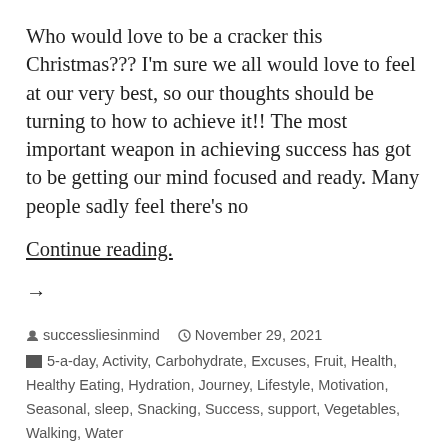Who would love to be a cracker this Christmas??? I'm sure we all would love to feel at our very best, so our thoughts should be turning to how to achieve it!! The most important weapon in achieving success has got to be getting our mind focused and ready. Many people sadly feel there's no
Continue reading. →
successliesinmind   November 29, 2021
5-a-day, Activity, Carbohydrate, Excuses, Fruit, Health, Healthy Eating, Hydration, Journey, Lifestyle, Motivation, Seasonal, sleep, Snacking, Success, support, Vegetables, Walking, Water
5 Comments